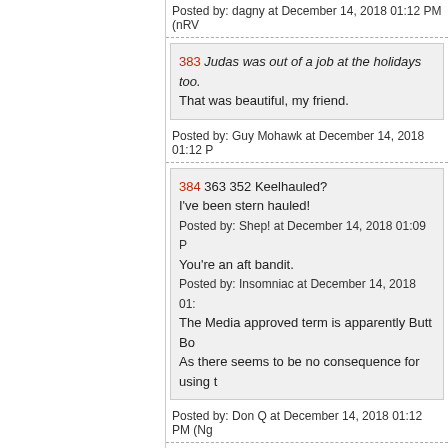Posted by: dagny at December 14, 2018 01:12 PM (nRV
383 Judas was out of a job at the holidays too. That was beautiful, my friend.
Posted by: Guy Mohawk at December 14, 2018 01:12 P
384 363 352 Keelhauled?

I've been stern hauled!
Posted by: Shep! at December 14, 2018 01:09 P

You're an aft bandit.
Posted by: Insomniac at December 14, 2018 01:

The Media approved term is apparently Butt Bo

As there seems to be no consequence for using t
Posted by: Don Q at December 14, 2018 01:12 PM (Ng
385 kristol is now hawking cat filters. eveybody
Posted by: chavez the hugo at December 14, 20
---
The new shamwow guy.